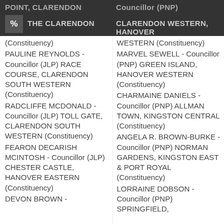POINT, CLARENDON
Councillor (PNP)
THE CLARENDON
CLARENDON WESTERN, HANOVER
(Constituency) PAULINE REYNOLDS - Councillor (JLP) RACE COURSE, CLARENDON SOUTH WESTERN (Constituency)
RADCLIFFE MCDONALD - Councillor (JLP) TOLL GATE, CLARENDON SOUTH WESTERN (Constituency)
FEARON DECARISH MCINTOSH - Councillor (JLP) CHESTER CASTLE, HANOVER EASTERN (Constituency)
DEVON BROWN -
WESTERN (Constituency) MARVEL SEWELL - Councillor (PNP) GREEN ISLAND, HANOVER WESTERN (Constituency)
CHARMAINE DANIELS - Councillor (PNP) ALLMAN TOWN, KINGSTON CENTRAL (Constituency)
ANGELA R. BROWN-BURKE - Councillor (PNP) NORMAN GARDENS, KINGSTON EAST & PORT ROYAL (Constituency)
LORRAINE DOBSON - Councillor (PNP) SPRINGFIELD,